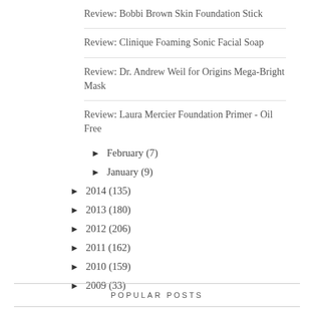Review: Bobbi Brown Skin Foundation Stick
Review: Clinique Foaming Sonic Facial Soap
Review: Dr. Andrew Weil for Origins Mega-Bright Mask
Review: Laura Mercier Foundation Primer - Oil Free
► February (7)
► January (9)
► 2014 (135)
► 2013 (180)
► 2012 (206)
► 2011 (162)
► 2010 (159)
► 2009 (33)
POPULAR POSTS